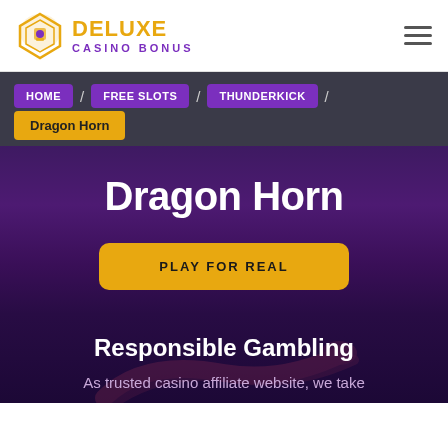DELUXE CASINO BONUS
HOME / FREE SLOTS / THUNDERKICK / Dragon Horn
Dragon Horn
PLAY FOR REAL
Responsible Gambling
As trusted casino affiliate website, we take